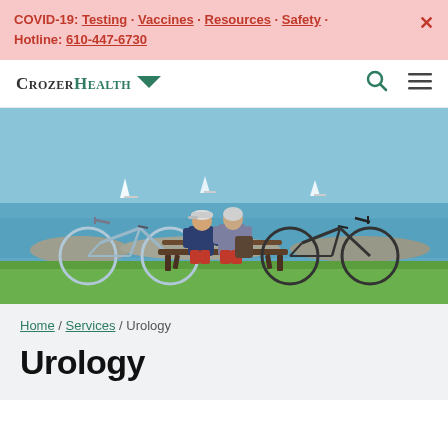COVID-19: Testing · Vaccines · Resources · Safety · Hotline: 610-447-6730
[Figure (logo): CrozerHealth logo with green downward arrow/chevron icon]
[Figure (photo): Two elderly people sitting on a bench by the waterfront with bicycles on either side, green grass in foreground, sailboats on water in background]
Home / Services / Urology
Urology